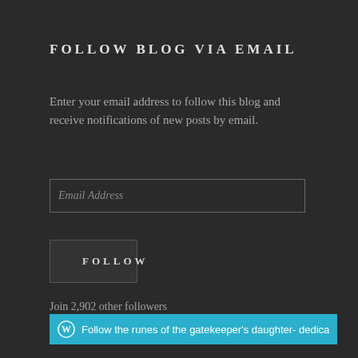FOLLOW BLOG VIA EMAIL
Enter your email address to follow this blog and receive notifications of new posts by email.
Email Address
FOLLOW
Join 2,902 other followers
Follow the runes of the gatekeeper's daughter- dedicated t